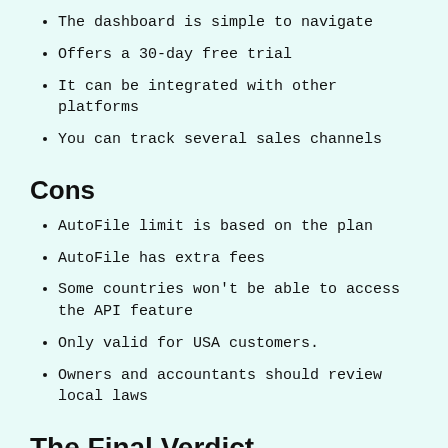The dashboard is simple to navigate
Offers a 30-day free trial
It can be integrated with other platforms
You can track several sales channels
Cons
AutoFile limit is based on the plan
AutoFile has extra fees
Some countries won't be able to access the API feature
Only valid for USA customers.
Owners and accountants should review local laws
The Final Verdict
With everything clearly laid out TaxJar is an excellent platform for companies with numerous sales channels, and that utilizes